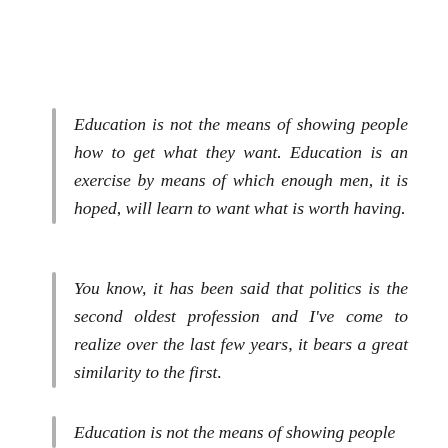Education is not the means of showing people how to get what they want. Education is an exercise by means of which enough men, it is hoped, will learn to want what is worth having.
You know, it has been said that politics is the second oldest profession and I've come to realize over the last few years, it bears a great similarity to the first.
Education is not the means of showing people